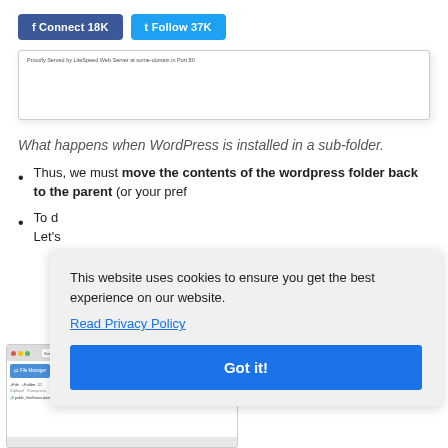f Connect 18K   Follow 37K
[Figure (screenshot): Screenshot of a web page showing 'Proudly Served by LiteSpeed Web Server at some-domain.in Port 80']
What happens when WordPress is installed in a sub-folder.
Thus, we must move the contents of the wordpress folder back to the parent (or your pref...
To d... Let's...
This website uses cookies to ensure you get the best experience on our website. Read Privacy Policy
Got it!
[Figure (screenshot): Screenshot of a browser with File Manager open showing directories and files]